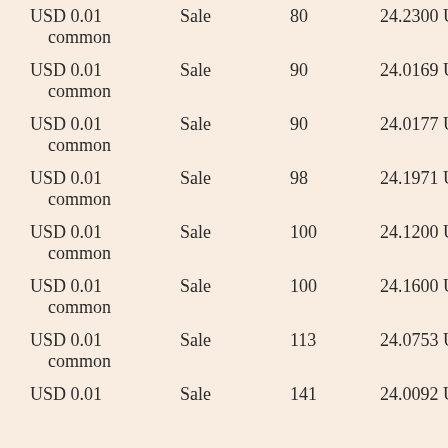| Security Type | Transaction | Shares | Price |
| --- | --- | --- | --- |
| USD 0.01 common | Sale | 80 | 24.2300 USD |
| USD 0.01 common | Sale | 90 | 24.0169 USD |
| USD 0.01 common | Sale | 90 | 24.0177 USD |
| USD 0.01 common | Sale | 98 | 24.1971 USD |
| USD 0.01 common | Sale | 100 | 24.1200 USD |
| USD 0.01 common | Sale | 100 | 24.1600 USD |
| USD 0.01 common | Sale | 113 | 24.0753 USD |
| USD 0.01 common | Sale | 141 | 24.0092 USD |